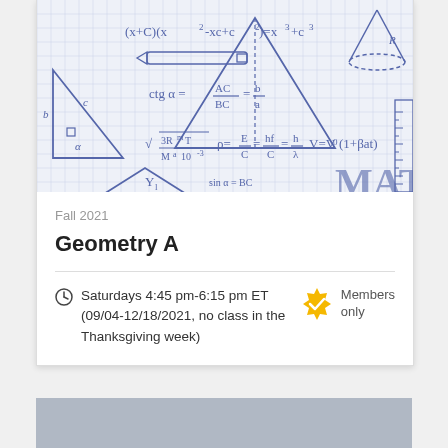[Figure (illustration): Math-themed banner image with graph paper background showing hand-drawn geometry shapes (triangle, cone, rhombus), a pencil, a ruler, and mathematical formulas including (x+C)(x²-xc+c²)=x³+c³, ctg α = AC/BC = b/a, square root formula, V=V₀(1+βat), and the word MATH]
Fall 2021
Geometry A
Saturdays 4:45 pm-6:15 pm ET (09/04-12/18/2021, no class in the Thanksgiving week)
Members only